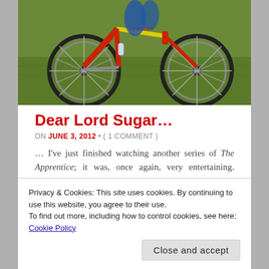[Figure (photo): Photograph of a red and yellow Pinarello racing bicycle on grass, close-up of the frame and wheels]
Dear Lord Sugar…
ON JUNE 3, 2012 • ( 1 COMMENT )
… I've just finished watching another series of The Apprentice; it was, once again, very entertaining. Congratulations. It's fun watching the 'best young business brains in Britain' (as the narration
Privacy & Cookies: This site uses cookies. By continuing to use this website, you agree to their use.
To find out more, including how to control cookies, see here: Cookie Policy
bickering fools. It is, however, a bit of a let down in